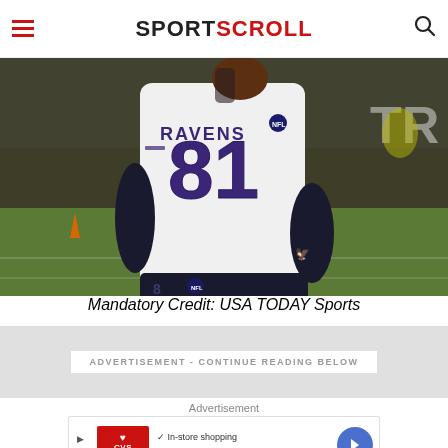SPORTSCROLL
[Figure (photo): Baltimore Ravens player wearing jersey number 81 (RAVENS) kneeling on the football field, dark pants, white jersey with purple and gold lettering, gloves, football field with green turf visible in background]
Mandatory Credit: USA TODAY Sports
ADVERTISEMENT - CONTINUE READING BELOW
Advertisement
[Figure (infographic): CVS Pharmacy advertisement showing In-store shopping, Drive-through, and Delivery options with checkmarks, CVS logo on left, blue diamond arrow icon on right]